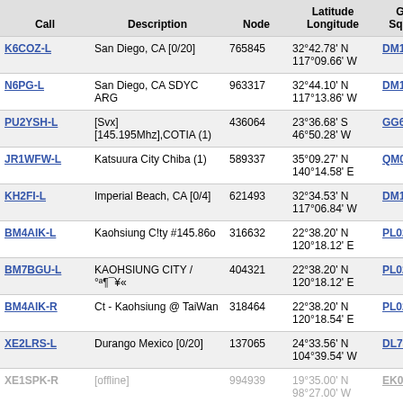| Call | Description | Node | Latitude
Longitude | Grid
Square | Dist
(mi) |
| --- | --- | --- | --- | --- | --- |
| K6COZ-L | San Diego, CA [0/20] | 765845 | 32°42.78' N
117°09.66' W | DM12kr | 6001.4 |
| N6PG-L | San Diego, CA SDYC ARG | 963317 | 32°44.10' N
117°13.86' W | DM12jr | 6002.4 |
| PU2YSH-L | [Svx] [145.195Mhz],COTIA (1) | 436064 | 23°36.68' S
46°50.28' W | GG66nj | 6002.6 |
| JR1WFW-L | Katsuura City Chiba (1) | 589337 | 35°09.27' N
140°14.58' E | QM05cd | 6006.1 |
| KH2FI-L | Imperial Beach, CA [0/4] | 621493 | 32°34.53' N
117°06.84' W | DM12kn | 6007.8 |
| BM4AIK-L | Kaohsiung C!ty #145.86o | 316632 | 22°38.20' N
120°18.12' E | PL02dp | 6008.5 |
| BM7BGU-L | KAOHSIUNG CITY / °ª¶¯¥« | 404321 | 22°38.20' N
120°18.12' E | PL02dp | 6008.5 |
| BM4AIK-R | Ct - Kaohsiung @ TaiWan | 318464 | 22°38.20' N
120°18.54' E | PL02dp | 6008.8 |
| XE2LRS-L | Durango Mexico [0/20] | 137065 | 24°33.56' N
104°39.54' W | DL74qn | 6009.5 |
| XE1SPK-R | [offline] | 994939 | 19°35.00' N
98°27.00' W | EK09sn | 6020.7 |
| VK3RME-R | Bendigo [0/5] | 552605 | 36°43.98' N
144°18.06' E | QM26dr | 6024.4 |